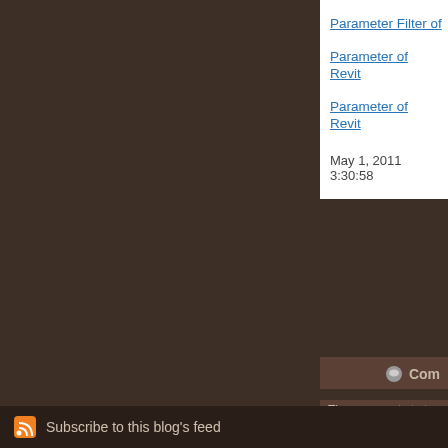Parameter Filter of
Parameter of Revit
Parameter of Revit
May 1, 2011 3:30:58
Com
The comments to t
P
Parameter of Revi FamilyParameter (FamilyManager.A
Subscribe to this blog's feed